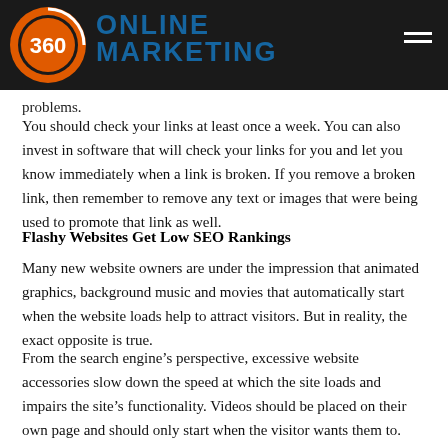360 ONLINE MARKETING
problems.
You should check your links at least once a week. You can also invest in software that will check your links for you and let you know immediately when a link is broken. If you remove a broken link, then remember to remove any text or images that were being used to promote that link as well.
Flashy Websites Get Low SEO Rankings
Many new website owners are under the impression that animated graphics, background music and movies that automatically start when the website loads help to attract visitors. But in reality, the exact opposite is true.
From the search engine’s perspective, excessive website accessories slow down the speed at which the site loads and impairs the site’s functionality. Videos should be placed on their own page and should only start when the visitor wants them to. Background music and animated images take a very long time to load and will push your website to the bottom of the search results.